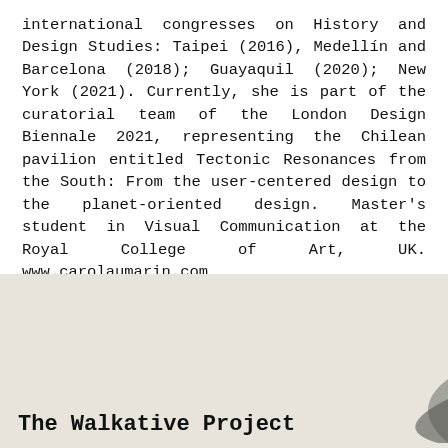international congresses on History and Design Studies: Taipei (2016), Medellín and Barcelona (2018); Guayaquil (2020); New York (2021). Currently, she is part of the curatorial team of the London Design Biennale 2021, representing the Chilean pavilion entitled Tectonic Resonances from the South: From the user-centered design to the planet-oriented design. Master's student in Visual Communication at the Royal College of Art, UK. www.carolaumarin.com
Poster designed by @kona_be & @studioatrangi
The Walkative Project